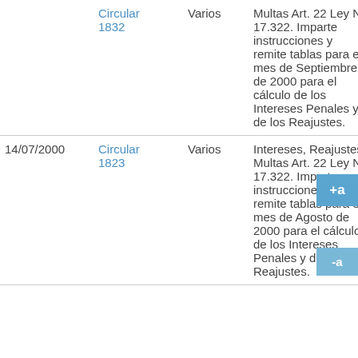| Fecha | Tipo | Destinatario | Descripción |
| --- | --- | --- | --- |
|  | Circular 1832 | Varios | Multas Art. 22 Ley N° 17.322. Imparte instrucciones y remite tablas para el mes de Septiembre de 2000 para el cálculo de los Intereses Penales y de los Reajustes. |
| 14/07/2000 | Circular 1823 | Varios | Intereses, Reajustes y Multas Art. 22 Ley N° 17.322. Imparte instrucciones y remite tablas para el mes de Agosto de 2000 para el cálculo de los Intereses Penales y de los Reajustes. |